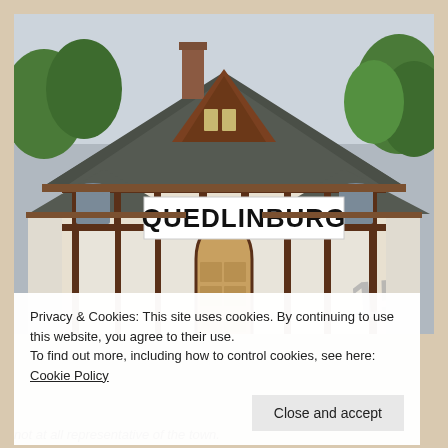[Figure (photo): Photograph of the Quedlinburg train station building — a historic half-timbered structure with dark brown wooden beams, white panels, a steeply pointed gabled dormer, a brick chimney, and a large sign reading 'QUEDLINBURG' on the facade. Graffiti '15' visible at lower right. Trees in background under overcast sky.]
Privacy & Cookies: This site uses cookies. By continuing to use this website, you agree to their use.
To find out more, including how to control cookies, see here: Cookie Policy
Close and accept
not at all representative of the town.